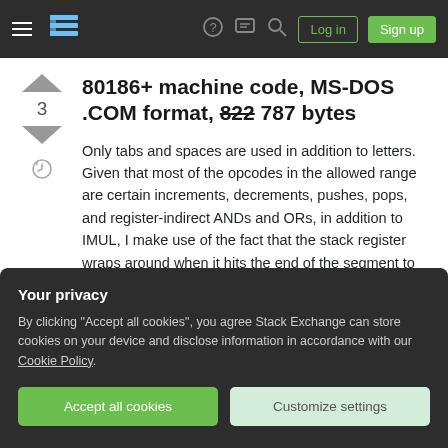Stack Exchange navigation bar with hamburger menu, logo, help, chat, search icons, Log in and Sign up buttons
80186+ machine code, MS-DOS .COM format, 822 787 bytes
Only tabs and spaces are used in addition to letters. Given that most of the opcodes in the allowed range are certain increments, decrements, pushes, pops, and register-indirect ANDs and ORs, in addition to IMUL, I make use of the fact that the stack register wraps around when it hits the end of the segment to modify the code in reverse! 80186+ assembly is
Your privacy
By clicking "Accept all cookies", you agree Stack Exchange can store cookies on your device and disclose information in accordance with our Cookie Policy.
Accept all cookies  Customize settings